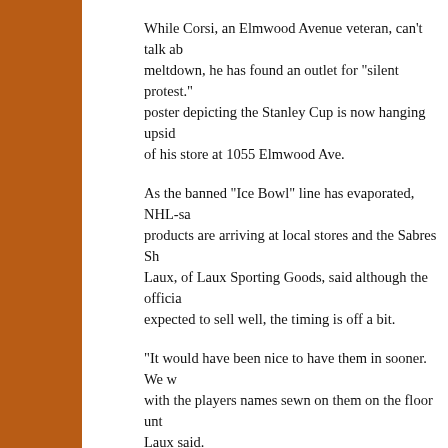While Corsi, an Elmwood Avenue veteran, can't talk about the meltdown, he has found an outlet for "silent protest." A poster depicting the Stanley Cup is now hanging upside down in of his store at 1055 Elmwood Ave.
As the banned "Ice Bowl" line has evaporated, NHL-sanctioned products are arriving at local stores and the Sabres Shop. Laux, of Laux Sporting Goods, said although the official gear is expected to sell well, the timing is off a bit.
"It would have been nice to have them in sooner. We would jerseys with the players names sewn on them on the floor until last week," Laux said.
Sabres spokesman Michael Gilbert also said Winter Classic items have been on shelves only a few days but have been hot sellers so far. In addition to the special white Sabres jerseys, the official product line includes thermal underwear shirts, hooded sweat shirts and a hat called the "Fargo Flap Cap."